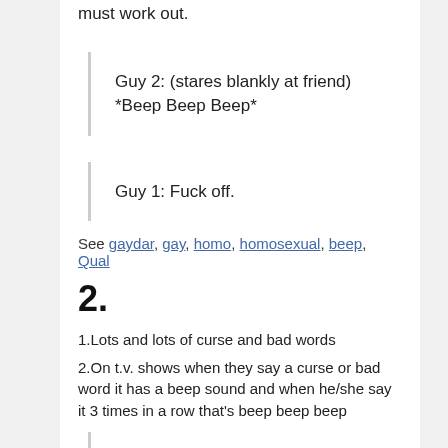must work out.
Guy 2: (stares blankly at friend) *Beep Beep Beep*
Guy 1: Fuck off.
See gaydar, gay, homo, homosexual, beep, Qual
2.
1.Lots and lots of curse and bad words
2.On t.v. shows when they say a curse or bad word it has a beep sound and when he/she say it 3 times in a row that's beep beep beep
You such a *beep beep beep*
See bitch, fuck, shit, fuckin, stupid